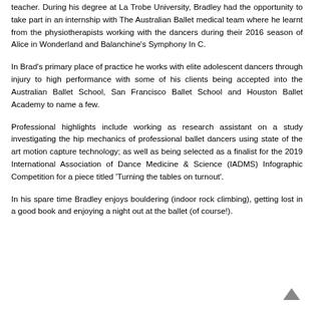teacher. During his degree at La Trobe University, Bradley had the opportunity to take part in an internship with The Australian Ballet medical team where he learnt from the physiotherapists working with the dancers during their 2016 season of Alice in Wonderland and Balanchine's Symphony In C.
In Brad's primary place of practice he works with elite adolescent dancers through injury to high performance with some of his clients being accepted into the Australian Ballet School, San Francisco Ballet School and Houston Ballet Academy to name a few.
Professional highlights include working as research assistant on a study investigating the hip mechanics of professional ballet dancers using state of the art motion capture technology; as well as being selected as a finalist for the 2019 International Association of Dance Medicine & Science (IADMS) Infographic Competition for a piece titled 'Turning the tables on turnout'.
In his spare time Bradley enjoys bouldering (indoor rock climbing), getting lost in a good book and enjoying a night out at the ballet (of course!).